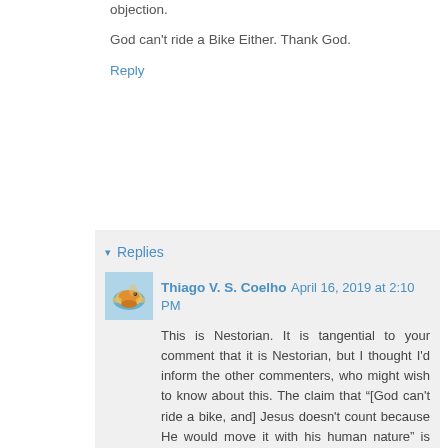objection.
God can't ride a Bike Either. Thank God.
Reply
Replies
Thiago V. S. Coelho  April 16, 2019 at 2:10 PM
This is Nestorian. It is tangential to your comment that it is Nestorian, but I thought I'd inform the other commenters, who might wish to know about this. The claim that “[God can't ride a bike, and] Jesus doesn't count because He would move it with his human nature” is equivalent to the claim that “God can't be born of a woman, and Jesus doesn't count because he would do so with his human nature”, which is Nestorius's objection to the “Mother of God” title for Mary.
Anonymous  April 16, 2019 at 2:55 PM